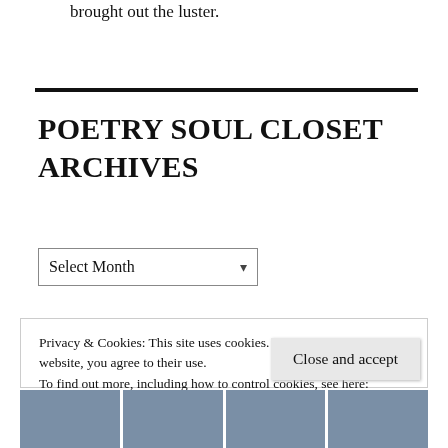brought out the luster.
POETRY SOUL CLOSET ARCHIVES
Select Month
Privacy & Cookies: This site uses cookies. By continuing to use this website, you agree to their use.
To find out more, including how to control cookies, see here: Cookie Policy
Close and accept